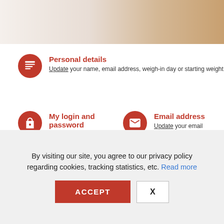[Figure (photo): Partial view of a lifestyle/food photo with light background colors — whites, creams, and warm tones]
Personal details — Update your name, email address, weigh-in day or starting weight
My login and password — Amend your password
Email address — Update your email address
My Account section of Slimming World website
From the Personal details page you'll be able to update your name, gender, date of birth, starting
By visiting our site, you agree to our privacy policy regarding cookies, tracking statistics, etc. Read more
ACCEPT  X